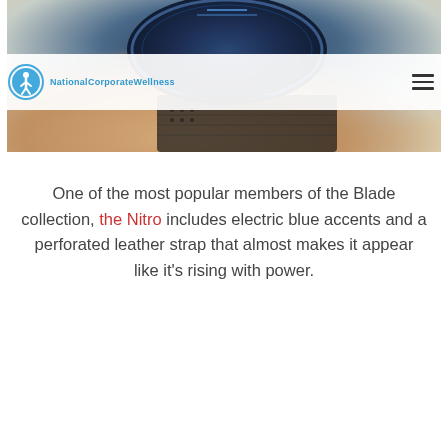[Figure (photo): Close-up photo of a ZINVO Blade Nitro watch on a wrist, showing the dark blue dial face and perforated leather strap]
NationalCorporateWellness
One of the most popular members of the Blade collection, the Nitro includes electric blue accents and a perforated leather strap that almost makes it appear like it's rising with power.
[Figure (screenshot): YouTube video thumbnail showing ZINVO Blade watch video titled 'ZINVO Blade - Unique mens wa...' with the ZINVO logo badge and three-dot menu icon]